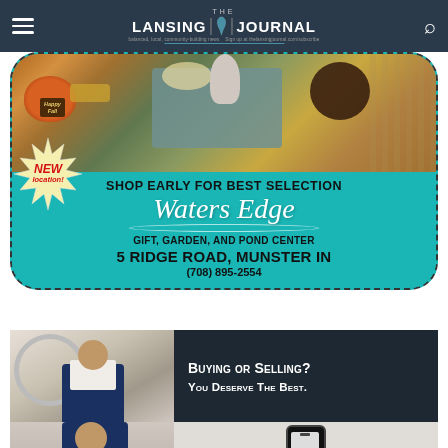The Lansing Journal
[Figure (photo): Advertisement for Waters Edge Gift, Garden, and Pond Center. Top portion shows fall decorations including pumpkins, gnome, wicker basket, and autumn flowers. Bottom teal section reads: SHOP EARLY FOR BEST SELECTION, Waters Edge (script), GIFT, GARDEN, AND POND CENTER, 5 RIDGE ROAD, MUNSTER IN, (708) 895-2554. A starburst badge in the lower left says NEW location!]
[Figure (photo): Real estate advertisement showing a man in a navy suit on the left, and dark panel on the right reading: Buying or Selling? You Deserve The Best.]
[Figure (photo): Bottom portion of the real estate ad showing a man in navy suit on left and a smartphone on the right side.]